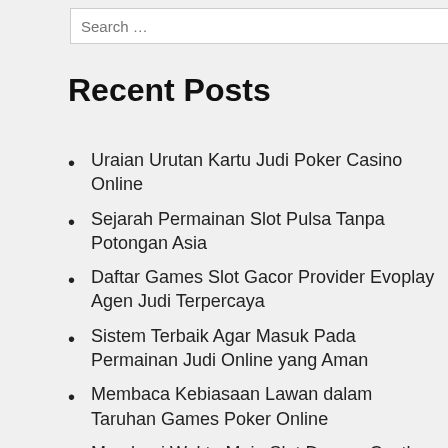Recent Posts
Uraian Urutan Kartu Judi Poker Casino Online
Sejarah Permainan Slot Pulsa Tanpa Potongan Asia
Daftar Games Slot Gacor Provider Evoplay Agen Judi Terpercaya
Sistem Terbaik Agar Masuk Pada Permainan Judi Online yang Aman
Membaca Kebiasaan Lawan dalam Taruhan Games Poker Online
Membagi Waktu Main Slot Dragon Castle Secara Bijak
Slot Gacor Gates of Olympus™ Paling